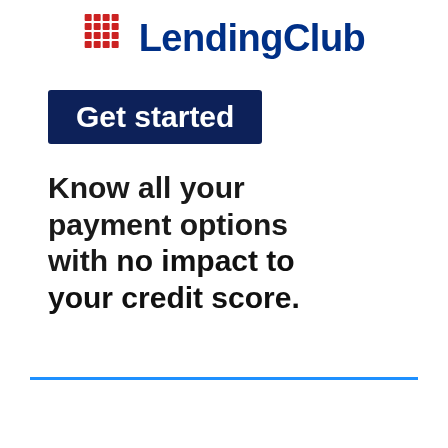[Figure (logo): LendingClub logo with red dot grid icon and dark navy blue text]
Get started
Know all your payment options with no impact to your credit score.